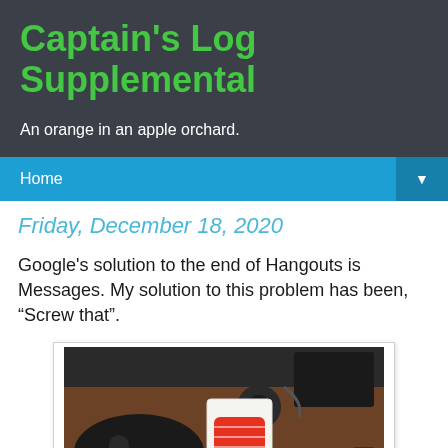Captain's Log Supplemental
An orange in an apple orchard.
Home
Friday, December 18, 2020
Google's solution to the end of Hangouts is Messages. My solution to this problem has been, “Screw that”.
[Figure (photo): A photo of a desk with a game controller, a smartphone box (iPhone SE), a round speaker, a black tablet/hard drive, and a remote control on a wooden surface.]